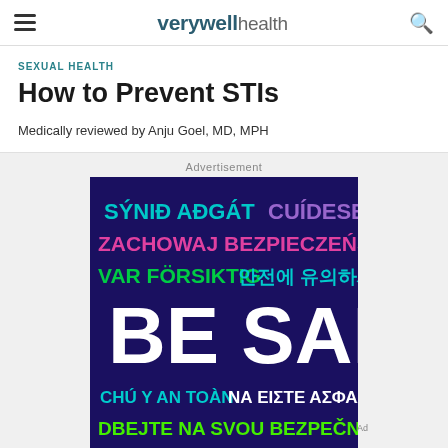verywell health
SEXUAL HEALTH
How to Prevent STIs
Medically reviewed by Anju Goel, MD, MPH
Advertisement
[Figure (infographic): Dark navy background advertisement with 'BE SAFE' in large white bold text in the center, surrounded by translations in multiple languages and colors: 'SÝNIĐ AÐGÁT' in teal, 'CUÍDESE' in purple, 'ZACHOWAJ BEZPIECZEŃSTWO' in magenta/pink, 'VAR FÖRSIKTIG' in green, Korean text in cyan, 'CHÚ Ý AN TOÀN' in teal, 'ΝΑ ΕΙΣΤΕ ΑΣΦΑΛΕΙΣ' in white, 'DBEJTE NA SVOU BEZPEČNOST' in bright green, and partially visible text at bottom.]